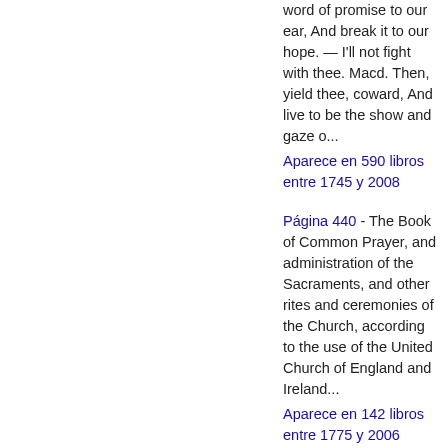word of promise to our ear, And break it to our hope. — I'll not fight with thee. Macd. Then, yield thee, coward, And live to be the show and gaze o...
Aparece en 590 libros entre 1745 y 2008
Página 440 - The Book of Common Prayer, and administration of the Sacraments, and other rites and ceremonies of the Church, according to the use of the United Church of England and Ireland...
Aparece en 142 libros entre 1775 y 2006
Página 477 - I could not